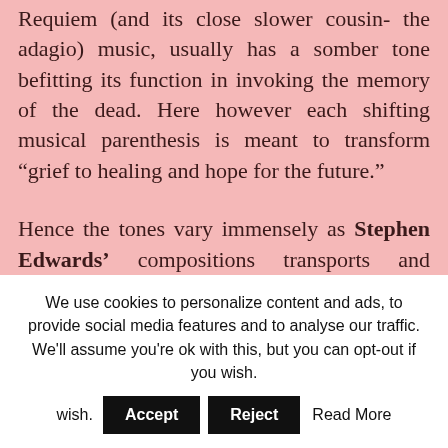Requiem (and its close slower cousin- the adagio) music, usually has a somber tone befitting its function in invoking the memory of the dead. Here however each shifting musical parenthesis is meant to transform “grief to healing and hope for the future.”
Hence the tones vary immensely as Stephen Edwards’ compositions transports and accompany the listener through his very own mutating
We use cookies to personalize content and ads, to provide social media features and to analyse our traffic. We'll assume you're ok with this, but you can opt-out if you wish.